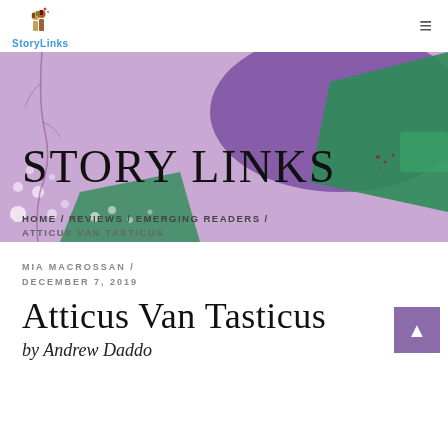[Figure (logo): StoryLinks logo with cartoon figures and blue text]
[Figure (illustration): Abstract banner with purple, green shapes, dots, and STORY LINKS heading with breadcrumb navigation showing HOME / REVIEWS / EMERGING READERS / ATTICUS VAN TASTICUS]
MIA MACROSSAN / DECEMBER 7, 2019
Atticus Van Tasticus
by Andrew Daddo